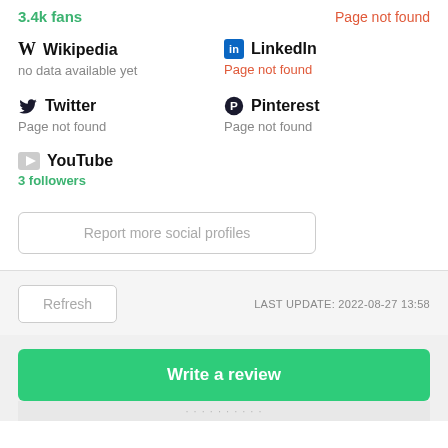3.4k fans
Page not found
Wikipedia
no data available yet
LinkedIn
Page not found
Twitter
Page not found
Pinterest
Page not found
YouTube
3 followers
Report more social profiles
Refresh
LAST UPDATE: 2022-08-27 13:58
Write a review